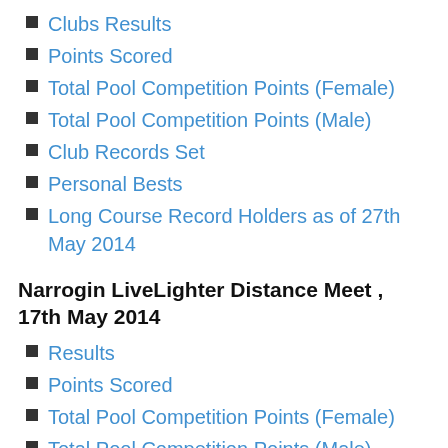Clubs Results
Points Scored
Total Pool Competition Points (Female)
Total Pool Competition Points (Male)
Club Records Set
Personal Bests
Long Course Record Holders as of 27th May 2014
Narrogin LiveLighter Distance Meet , 17th May 2014
Results
Points Scored
Total Pool Competition Points (Female)
Total Pool Competition Points (Male)
Club Records Set
Short Course Record Holders as of 17th May 2014
Club Championships Round 4 , 3rd May 2014